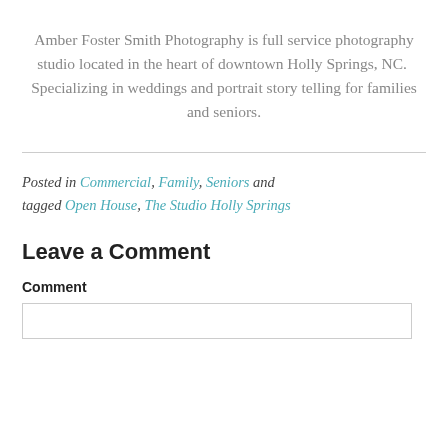Amber Foster Smith Photography is full service photography studio located in the heart of downtown Holly Springs, NC.  Specializing in weddings and portrait story telling for families and seniors.
Posted in Commercial, Family, Seniors and tagged Open House, The Studio Holly Springs
Leave a Comment
Comment